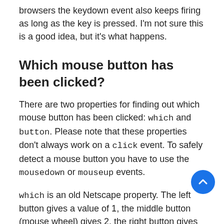browsers the keydown event also keeps firing as long as the key is pressed. I'm not sure this is a good idea, but it's what happens.
Which mouse button has been clicked?
There are two properties for finding out which mouse button has been clicked: which and button. Please note that these properties don't always work on a click event. To safely detect a mouse button you have to use the mousedown or mouseup events.
which is an old Netscape property. The left button gives a value of 1, the middle button (mouse wheel) gives 2, the right button gives 3. No problems, except its meagre support (and the fact that it's also used for key detection).
Now button has been fouled up beyond all recognition. According to W3C, its values should be: